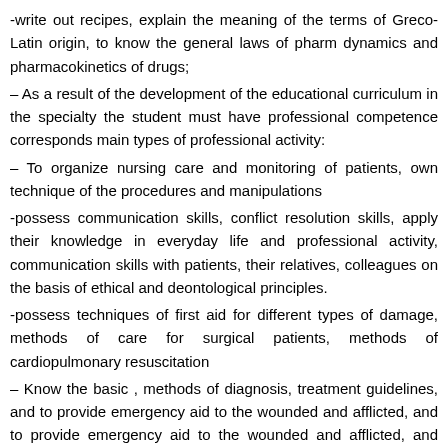-write out recipes, explain the meaning of the terms of Greco-Latin origin, to know the general laws of pharm dynamics and pharmacokinetics of drugs;
– As a result of the development of the educational curriculum in the specialty the student must have professional competence corresponds main types of professional activity:
– To organize nursing care and monitoring of patients, own technique of the procedures and manipulations
-possess communication skills, conflict resolution skills, apply their knowledge in everyday life and professional activity, communication skills with patients, their relatives, colleagues on the basis of ethical and deontological principles.
-possess techniques of first aid for different types of damage, methods of care for surgical patients, methods of cardiopulmonary resuscitation
– Know the basic , methods of diagnosis, treatment guidelines, and to provide emergency aid to the wounded and afflicted, and to provide emergency aid to the wounded and afflicted, and maintain a